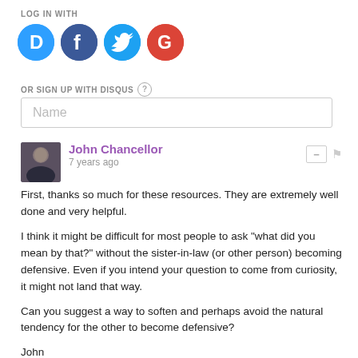LOG IN WITH
[Figure (infographic): Four social login icons: Disqus (blue circle with D), Facebook (dark blue circle with f), Twitter (light blue circle with bird), Google (red circle with G)]
OR SIGN UP WITH DISQUS (?)
Name
John Chancellor • 7 years ago
First, thanks so much for these resources. They are extremely well done and very helpful.

I think it might be difficult for most people to ask "what did you mean by that?" without the sister-in-law (or other person) becoming defensive. Even if you intend your question to come from curiosity, it might not land that way.

Can you suggest a way to soften and perhaps avoid the natural tendency for the other to become defensive?

John